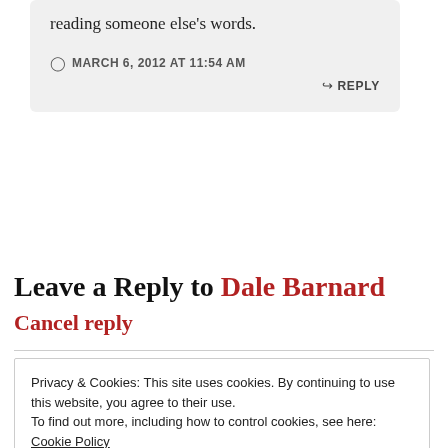reading someone else's words.
MARCH 6, 2012 AT 11:54 AM
↳ REPLY
Leave a Reply to Dale Barnard
Cancel reply
Privacy & Cookies: This site uses cookies. By continuing to use this website, you agree to their use.
To find out more, including how to control cookies, see here: Cookie Policy
Close and accept